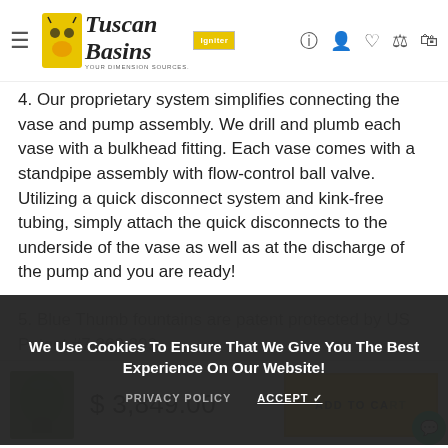Tuscan Basins — navigation header with logo, hamburger menu, and icons
4. Our proprietary system simplifies connecting the vase and pump assembly. We drill and plumb each vase with a bulkhead fitting. Each vase comes with a standpipe assembly with flow-control ball valve. Utilizing a quick disconnect system and kink-free tubing, simply attach the quick disconnects to the underside of the vase as well as at the discharge of the pump and you are ready!
5. Blue Thumb fountains are patent protected by US Patent #7,360,203...
There isn't a more complete and professional-grade fountain system available. This is a complete system as we deliver right to your door ready for installation!
We Use Cookies To Ensure That We Give You The Best Experience On Our Website!
PRIVACY POLICY   ACCEPT ✓
$ 3,849.00   ADD TO CART